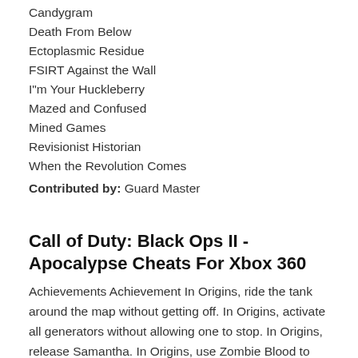Candygram
Death From Below
Ectoplasmic Residue
FSIRT Against the Wall
I"m Your Huckleberry
Mazed and Confused
Mined Games
Revisionist Historian
When the Revolution Comes
Contributed by: Guard Master
Call of Duty: Black Ops II - Apocalypse Cheats For Xbox 360
Achievements Achievement In Origins, ride the tank around the map without getting off. In Origins, activate all generators without allowing one to stop. In Origins, release Samantha. In Origins, use Zombie Blood to revive three players and activate a generator in one game. In Origins, wield all of the ultimate staffs in one game. In Origins, share a